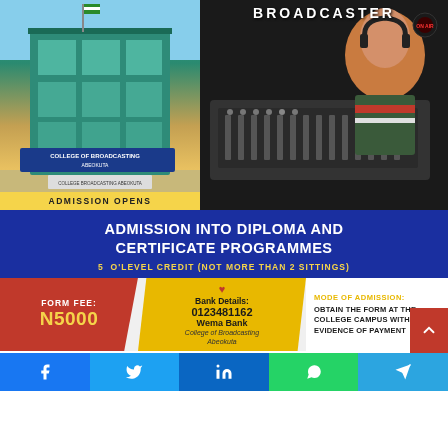[Figure (photo): Left: College of Broadcasting Abeokuta building exterior with green glass facade and signage. Right: Female broadcaster/DJ wearing headphones at a mixing console in a radio studio, with text 'BROADCASTER' at top.]
ADMISSION OPENS
ADMISSION INTO DIPLOMA AND CERTIFICATE PROGRAMMES
5 O'LEVEL CREDIT (NOT MORE THAN 2 SITTINGS)
FORM FEE:
N5000
Bank Details:
0123481162
Wema Bank
College of Broadcasting Abeokuta
MODE OF ADMISSION:
OBTAIN THE FORM AT THE COLLEGE CAMPUS WITH EVIDENCE OF PAYMENT
Website: www.collegeofbroadcasting.com  |  Email: info@collegeofbroadcasting.com
Contact Address: College Of Broadcasting, Glass House, Opako Adigbe, Abeokuta, Ogun State.
For More Enquiries:  0704 892 4593, 0913 993 9595
[Figure (infographic): Social media share buttons: Facebook, Twitter, LinkedIn, WhatsApp, Telegram]